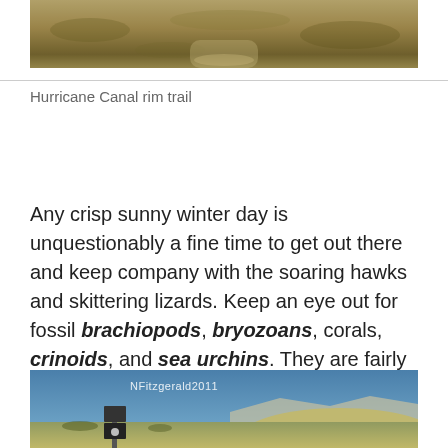[Figure (photo): Top portion of a photo showing Hurricane Canal rim trail — dry brush and dirt trail landscape]
Hurricane Canal rim trail
Any crisp sunny winter day is unquestionably a fine time to get out there and keep company with the soaring hawks and skittering lizards. Keep an eye out for fossil brachiopods, bryozoans, corals, crinoids, and sea urchins. They are fairly easy to spot, especially if you are on foot!
[Figure (photo): Photo of Hurricane Canal trail with trail signs in foreground, blue sky and mountainous desert landscape in background. Watermark reads NFitzgerald2011.]